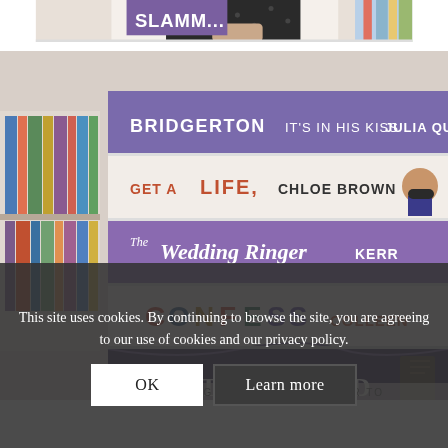[Figure (photo): Top strip: partial view of person holding books, 'SLAMM...' visible on book spine]
[Figure (photo): Stack of books on a shelf showing spines: 'BRIDGERTON IT'S IN HIS KISS JULIA QU...', 'GET A LIFE, CHLOE BROWN', 'The Wedding Ringer KERR', 'CONFESS COLLEEN', 'The WITCH'S KIND', 'CELESTE NG EVERYTHING I NEVER TO']
This site uses cookies. By continuing to browse the site, you are agreeing to our use of cookies and our privacy policy.